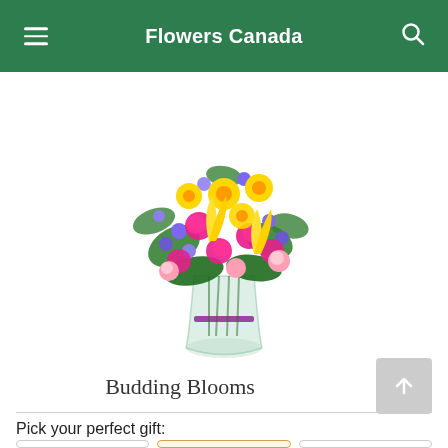Flowers Canada
[Figure (photo): A colorful flower bouquet in a glass vase with a purple ribbon, containing yellow tulips, pink carnations, purple asters, and mixed greenery - labeled Budding Blooms]
Budding Blooms
Pick your perfect gift: